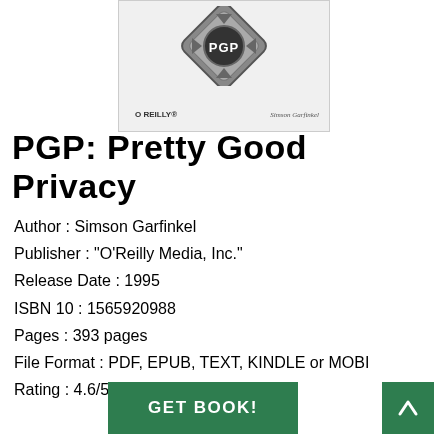[Figure (illustration): Book cover of PGP: Pretty Good Privacy by Simson Garfinkel, published by O'Reilly. Shows a metallic PGP badge/logo on the cover with O'Reilly branding and author name Simson Garfinkel.]
PGP: Pretty Good Privacy
Author : Simson Garfinkel
Publisher : "O'Reilly Media, Inc."
Release Date : 1995
ISBN 10 : 1565920988
Pages : 393 pages
File Format : PDF, EPUB, TEXT, KINDLE or MOBI
Rating : 4.6/5 (565 users download)